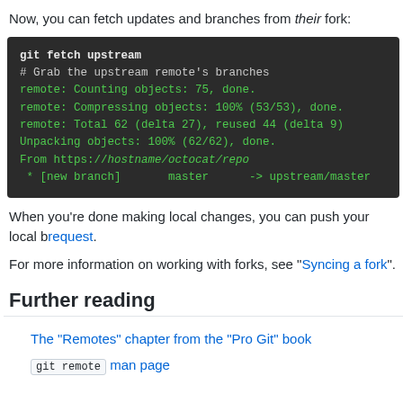Now, you can fetch updates and branches from their fork:
[Figure (screenshot): Dark terminal code block showing git fetch upstream command and its output including remote counting, compressing, total objects, unpacking, and new branch master -> upstream/master]
When you're done making local changes, you can push your local b[ranch and file a pull] request.
For more information on working with forks, see "Syncing a fork".
Further reading
The "Remotes" chapter from the "Pro Git" book
git remote man page